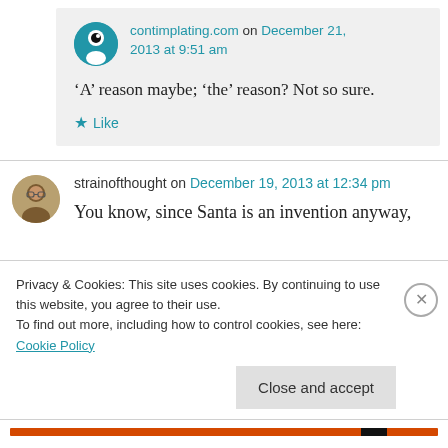contimplating.com on December 21, 2013 at 9:51 am
‘A’ reason maybe; ‘the’ reason? Not so sure.
Like
strainofthought on December 19, 2013 at 12:34 pm
You know, since Santa is an invention anyway,
Privacy & Cookies: This site uses cookies. By continuing to use this website, you agree to their use.
To find out more, including how to control cookies, see here: Cookie Policy
Close and accept